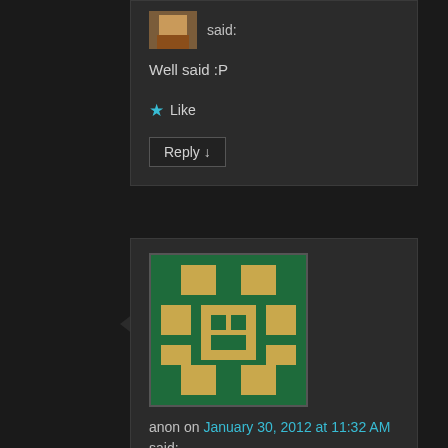said:
Well said :P
★ Like
Reply ↓
anon on January 30, 2012 at 11:32 AM said:
I thought I was the only one. I loved the Simpsons but the new episodes are lame.
Homer is heartless now, in the first season he was a good father.